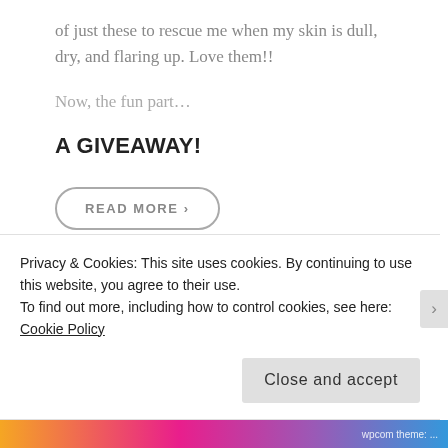of just these to rescue me when my skin is dull, dry, and flaring up. Love them!!
Now, the fun part…
A GIVEAWAY!
READ MORE ›
Share this:
Privacy & Cookies: This site uses cookies. By continuing to use this website, you agree to their use.
To find out more, including how to control cookies, see here: Cookie Policy
Close and accept